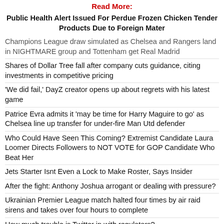Read More:
Public Health Alert Issued For Perdue Frozen Chicken Tender Products Due to Foreign Mater
Champions League draw simulated as Chelsea and Rangers land in NIGHTMARE group and Tottenham get Real Madrid
Shares of Dollar Tree fall after company cuts guidance, citing investments in competitive pricing
'We did fail,' DayZ creator opens up about regrets with his latest game
Patrice Evra admits it 'may be time for Harry Maguire to go' as Chelsea line up transfer for under-fire Man Utd defender
Who Could Have Seen This Coming? Extremist Candidate Laura Loomer Directs Followers to NOT VOTE for GOP Candidate Who Beat Her
Jets Starter Isnt Even a Lock to Make Roster, Says Insider
After the fight: Anthony Joshua arrogant or dealing with pressure?
Ukrainian Premier League match halted four times by air raid sirens and takes over four hours to complete
How much trouble is Twitter in with regulators?
Everything you wanted to know (and more!) about pickleball
Fans all say same thing as Aston Villa release clip of Douglas Luiz